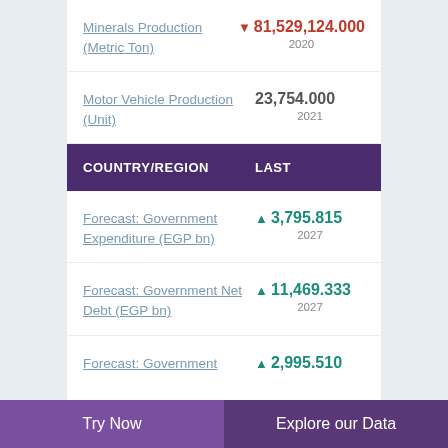Minerals Production (Metric Ton)
Motor Vehicle Production (Unit)
| COUNTRY/REGION | LAST |
| --- | --- |
Forecast: Government Expenditure (EGP bn)
Forecast: Government Net Debt (EGP bn)
Forecast: Government
Try Now    Explore our Data